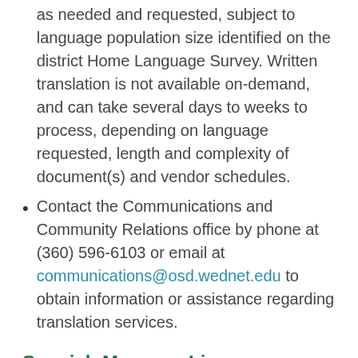as needed and requested, subject to language population size identified on the district Home Language Survey. Written translation is not available on-demand, and can take several days to weeks to process, depending on language requested, length and complexity of document(s) and vendor schedules.
Contact the Communications and Community Relations office by phone at (360) 596-6103 or email at communications@osd.wednet.edu to obtain information or assistance regarding translation services.
Spanish Message Line
The District maintains a telephone message